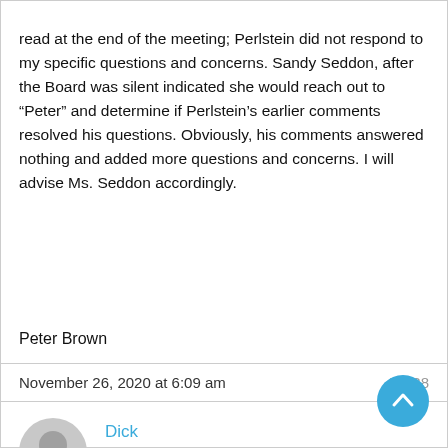read at the end of the meeting; Perlstein did not respond to my specific questions and concerns. Sandy Seddon, after the Board was silent indicated she would reach out to “Peter” and determine if Perlstein’s earlier comments resolved his questions. Obviously, his comments answered nothing and added more questions and concerns. I will advise Ms. Seddon accordingly.
Peter Brown
November 26, 2020 at 6:09 am
#6038
[Figure (illustration): Gray circular avatar placeholder icon]
Dick
Participant